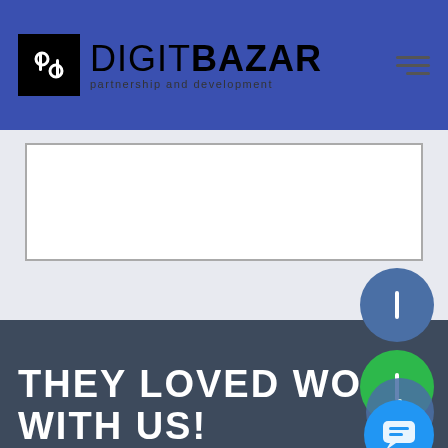DIGITBAZAR partnership and development
[Figure (screenshot): White card/input box with gray border on light gray background]
[Figure (illustration): Dark blue circular button with vertical bar icon (Facebook-style)]
[Figure (illustration): Green circular button with vertical bar icon (WhatsApp-style)]
[Figure (illustration): Blue circular button with vertical bar icon]
[Figure (illustration): Bright blue circular chat bubble button]
THEY LOVED WORKING WITH US!